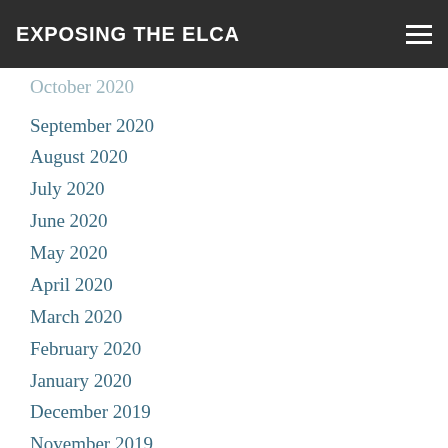EXPOSING THE ELCA
October 2020
September 2020
August 2020
July 2020
June 2020
May 2020
April 2020
March 2020
February 2020
January 2020
December 2019
November 2019
October 2019
September 2019
August 2019
July 2019
June 2019